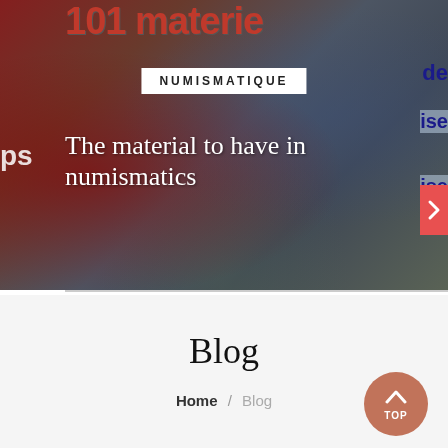[Figure (photo): Hero banner image showing numismatics/coins magazine with a photo of coins, cards and other collectibles. A white badge reads NUMISMATIQUE. Large white text overlay reads 'The material to have in numismatics'.]
Blog
Home / Blog